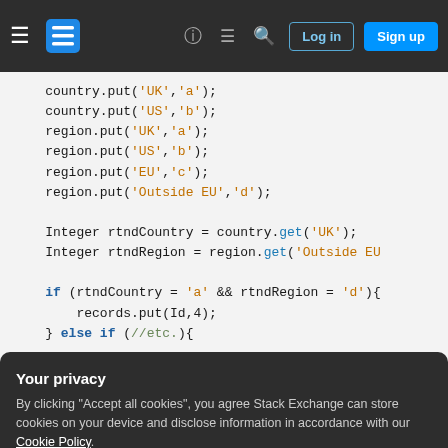Stack Exchange navigation bar with hamburger menu, logo, help, chat, search icons, Log in and Sign up buttons
[Figure (screenshot): Code snippet showing HashMap put/get operations in Java with variables country and region, followed by an if/else if block]
Your privacy
By clicking "Accept all cookies", you agree Stack Exchange can store cookies on your device and disclose information in accordance with our Cookie Policy.
Accept all cookies   Customize settings
which I could use in place of Excel's INDEX(